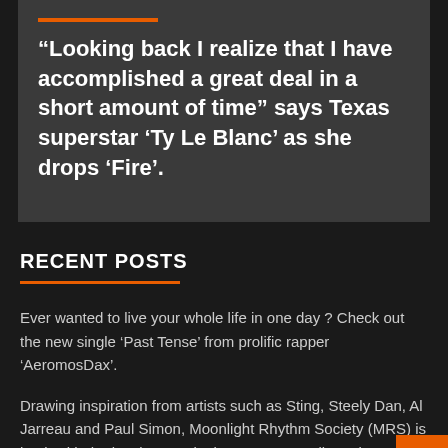“Looking back I realize that I have accomplished a great deal in a short amount of time” says Texas superstar ‘Ty Le Blanc’ as she drops ‘Fire’.
RECENT POSTS
Ever wanted to live your whole life in one day ? Check out the new single ‘Past Tense’ from prolific rapper ‘AeromosDax’.
Drawing inspiration from artists such as Sting, Steely Dan, Al Jarreau and Paul Simon, Moonlight Rhythm Society (MRS) is back with the lovely new single ‘Demons, Trolls and Dragons’.